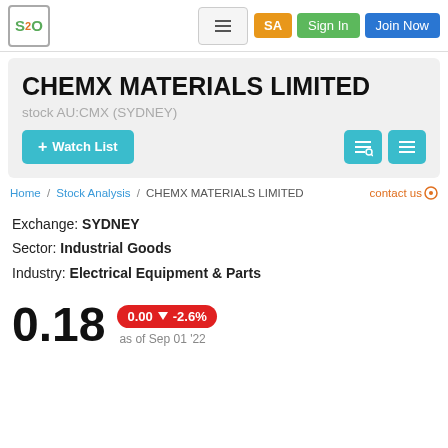S2O | SA | Sign In | Join Now
CHEMX MATERIALS LIMITED
stock AU:CMX (SYDNEY)
+ Watch List
Home / Stock Analysis / CHEMX MATERIALS LIMITED   contact us
Exchange: SYDNEY
Sector: Industrial Goods
Industry: Electrical Equipment & Parts
0.18  0.00 ▼ -2.6%  as of Sep 01 '22